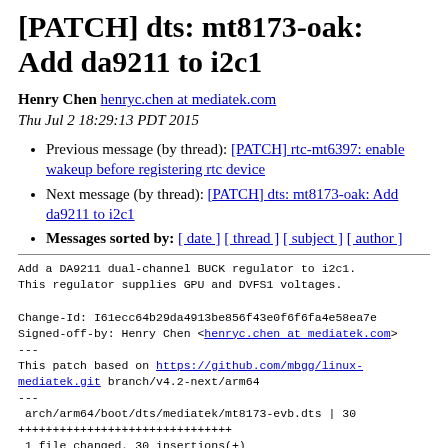[PATCH] dts: mt8173-oak: Add da9211 to i2c1
Henry Chen henryc.chen at mediatek.com
Thu Jul 2 18:29:13 PDT 2015
Previous message (by thread): [PATCH] rtc-mt6397: enable wakeup before registering rtc device
Next message (by thread): [PATCH] dts: mt8173-oak: Add da9211 to i2c1
Messages sorted by: [ date ] [ thread ] [ subject ] [ author ]
Add a DA9211 dual-channel BUCK regulator to i2c1.
This regulator supplies GPU and DVFS1 voltages.

Change-Id: I61ecc64b29da4913be856f43e0f6f6fa4e58ea7e
Signed-off-by: Henry Chen <henryc.chen at mediatek.com>
---
This patch based on https://github.com/mbgg/linux-mediatek.git branch/v4.2-next/arm64
---
 arch/arm64/boot/dts/mediatek/mt8173-evb.dts | 30
+++++++++++++++++++++++++++++++
 1 file changed, 30 insertions(+)